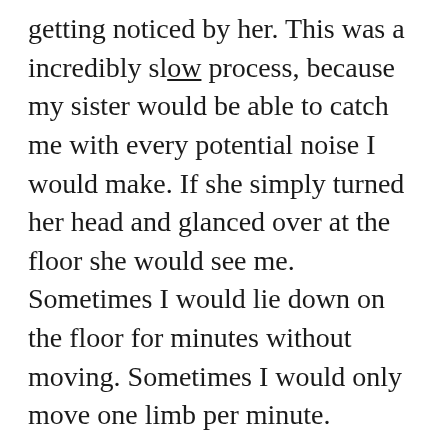getting noticed by her. This was a incredibly slow process, because my sister would be able to catch me with every potential noise I would make. If she simply turned her head and glanced over at the floor she would see me. Sometimes I would lie down on the floor for minutes without moving. Sometimes I would only move one limb per minute.
At times my brother, who slept in the same room, would spot me during this process. His bed was at a normal height. I would make him into my accomplice by quietly gesturing him to keep quiet. He always played along.